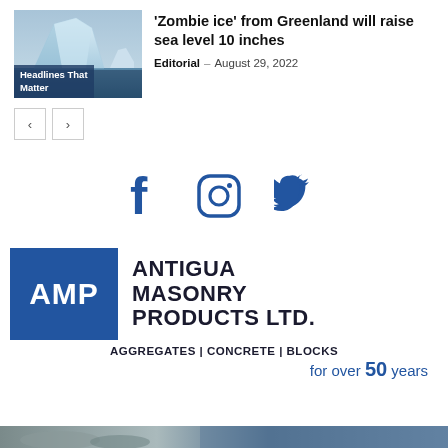[Figure (photo): Thumbnail image of Greenland iceberg with 'Headlines That Matter' label overlay]
'Zombie ice' from Greenland will raise sea level 10 inches
Editorial – August 29, 2022
[Figure (infographic): Navigation previous/next arrow buttons]
[Figure (infographic): Social media icons: Facebook, Instagram, Twitter in blue]
[Figure (logo): Antigua Masonry Products Ltd. advertisement with AMP logo box, company name, and tagline: AGGREGATES | CONCRETE | BLOCKS for over 50 years]
[Figure (photo): Bottom image strip partially visible]